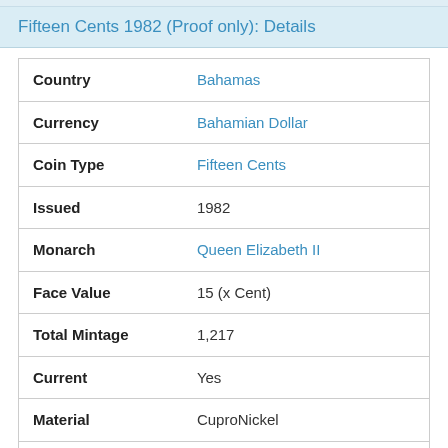Fifteen Cents 1982 (Proof only): Details
| Field | Value |
| --- | --- |
| Country | Bahamas |
| Currency | Bahamian Dollar |
| Coin Type | Fifteen Cents |
| Issued | 1982 |
| Monarch | Queen Elizabeth II |
| Face Value | 15 (x Cent) |
| Total Mintage | 1,217 |
| Current | Yes |
| Material | CuproNickel |
| Technology | Milled (machine-made) |